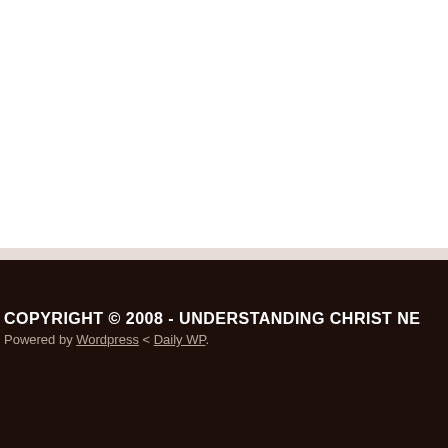COPYRIGHT © 2008 - UNDERSTANDING CHRIST NE
Powered by Wordpress < Daily WP.